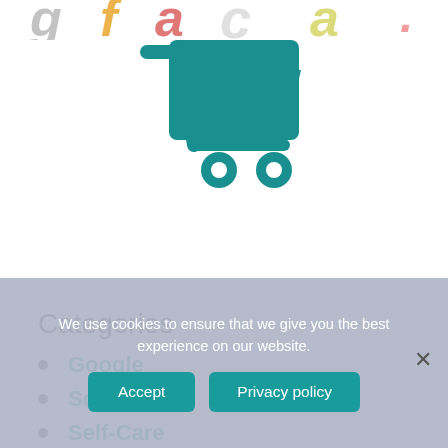[Figure (illustration): Partial colorful handwritten-style letters/logo at the very top of the page, cropped]
[Figure (illustration): Large teal shopping cart icon centered on white background]
Categories
Google
School
Self-Care
We use cookies to ensure that we give you the best experience on our website.
Accept
Privacy policy